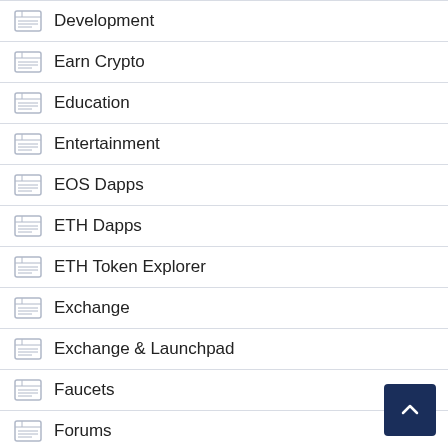Development
Earn Crypto
Education
Entertainment
EOS Dapps
ETH Dapps
ETH Token Explorer
Exchange
Exchange & Launchpad
Faucets
Forums
Gambling